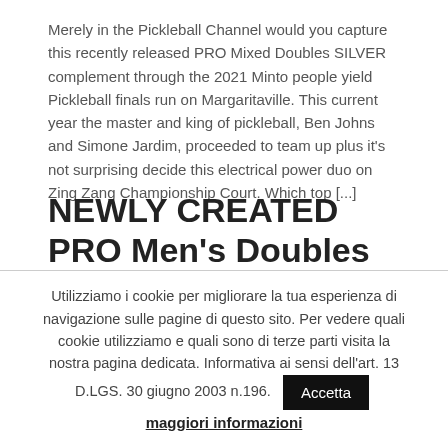Merely in the Pickleball Channel would you capture this recently released PRO Mixed Doubles SILVER complement through the 2021 Minto people yield Pickleball finals run on Margaritaville. This current year the master and king of pickleball, Ben Johns and Simone Jardim, proceeded to team up plus it's not surprising decide this electrical power duo on Zing Zang Championship Court. Which top [...]
NEWLY CREATED PRO Men's Doubles SILVER – Minto me yield Pickleball finals 2021 – CBS Sporting events Network
Utilizziamo i cookie per migliorare la tua esperienza di navigazione sulle pagine di questo sito. Per vedere quali cookie utilizziamo e quali sono di terze parti visita la nostra pagina dedicata. Informativa ai sensi dell'art. 13 D.LGS. 30 giugno 2003 n.196. Accetta maggiori informazioni